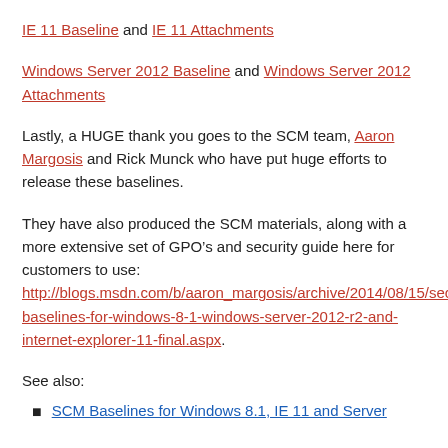IE 11 Baseline and IE 11 Attachments
Windows Server 2012 Baseline and Windows Server 2012 Attachments
Lastly, a HUGE thank you goes to the SCM team, Aaron Margosis and Rick Munck who have put huge efforts to release these baselines.
They have also produced the SCM materials, along with a more extensive set of GPO’s and security guide here for customers to use: http://blogs.msdn.com/b/aaron_margosis/archive/2014/08/15/security-baselines-for-windows-8-1-windows-server-2012-r2-and-internet-explorer-11-final.aspx.
See also:
SCM Baselines for Windows 8.1, IE 11 and Server